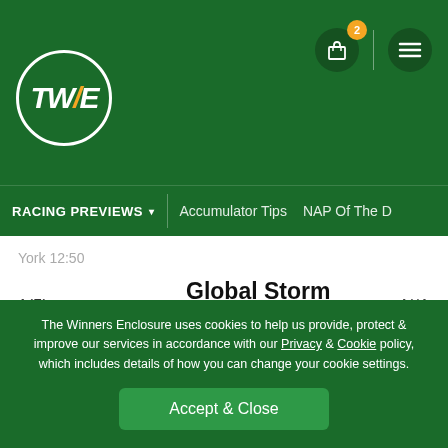[Figure (logo): TWE logo in white circle on green background, with orange slash in W/E]
RACING PREVIEWS ▾   Accumulator Tips   NAP Of The D
York 12:50
1(5)   Global Storm   J: Harry Davies   T: Charlie Appleby   N/A
Age: 5   Weight: 9-12   OR: 106   Days: 67
The first race of the afternoon is the Class 2 Handicap over 1-1f and at the review, Global Storm for Charlie Appleby...
The Winners Enclosure uses cookies to help us provide, protect & improve our services in accordance with our Privacy & Cookie policy, which includes details of how you can change your cookie settings.
Accept & Close